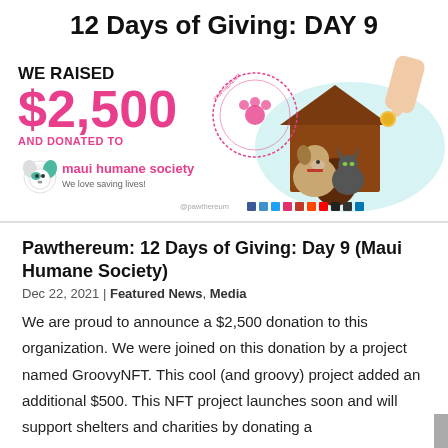12 Days of Giving: DAY 9
[Figure (illustration): Promotional banner showing raised amount $2,500 donated to Maui Humane Society, with illustration of dog and cat in doghouse, hand dropping coin, and Pawthereum circular logo stamp]
Pawthereum: 12 Days of Giving: Day 9 (Maui Humane Society)
Dec 22, 2021 | Featured News, Media
We are proud to announce a $2,500 donation to this organization. We were joined on this donation by a project named GroovyNFT. This cool (and groovy) project added an additional $500. This NFT project launches soon and will support shelters and charities by donating a